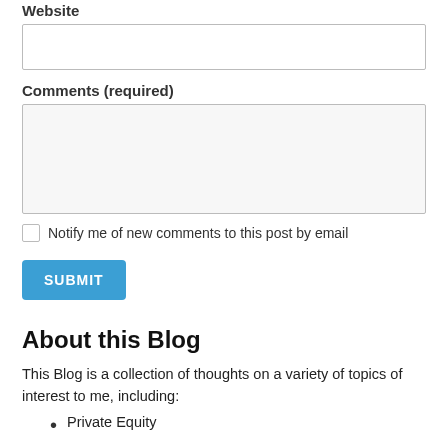Website
Comments (required)
Notify me of new comments to this post by email
SUBMIT
About this Blog
This Blog is a collection of thoughts on a variety of topics of interest to me, including:
Private Equity